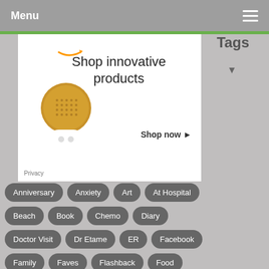Menu
[Figure (screenshot): Amazon ad banner showing a robot-shaped bluetooth speaker with text 'Shop innovative products' and 'Shop now']
Tags
Anniversary
Anxiety
Art
At Hospital
Beach
Book
Chemo
Diary
Doctor Visit
Dr Etame
ER
Facebook
Family
Faves
Flashback
Food
FoofTheCat
Friends
HaHaHa
Happy